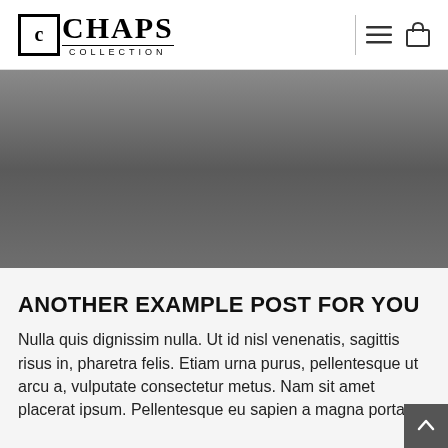CHAPS COLLECTION
[Figure (photo): Hero banner image with grey gradient background]
ANOTHER EXAMPLE POST FOR YOU
Nulla quis dignissim nulla. Ut id nisl venenatis, sagittis risus in, pharetra felis. Etiam urna purus, pellentesque ut arcu a, vulputate consectetur metus. Nam sit amet placerat ipsum. Pellentesque eu sapien a magna porta